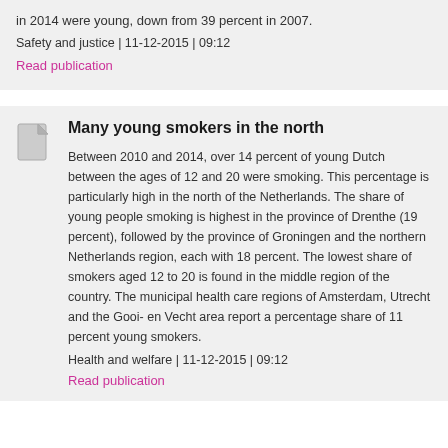in 2014 were young, down from 39 percent in 2007.
Safety and justice | 11-12-2015 | 09:12
Read publication
Many young smokers in the north
Between 2010 and 2014, over 14 percent of young Dutch between the ages of 12 and 20 were smoking. This percentage is particularly high in the north of the Netherlands. The share of young people smoking is highest in the province of Drenthe (19 percent), followed by the province of Groningen and the northern Netherlands region, each with 18 percent. The lowest share of smokers aged 12 to 20 is found in the middle region of the country. The municipal health care regions of Amsterdam, Utrecht and the Gooi- en Vecht area report a percentage share of 11 percent young smokers.
Health and welfare | 11-12-2015 | 09:12
Read publication